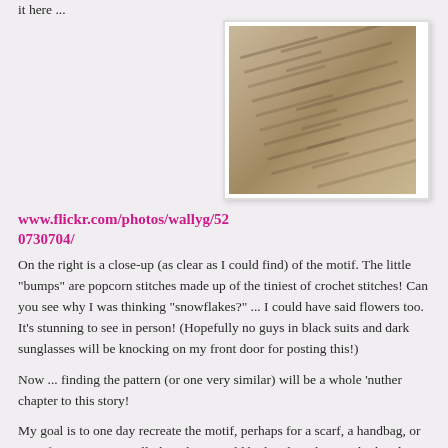it here ...
www.flickr.com/photos/wallyg/520730704/
[Figure (photo): Close-up photo of crochet fabric showing popcorn stitches forming a snowflake/flower motif pattern on tan/beige textile]
On the right is a close-up (as clear as I could find) of the motif.  The little "bumps" are popcorn stitches made up of the tiniest of crochet stitches!  Can you see why I was thinking "snowflakes?" ... I could have said flowers too.  It's stunning to see in person!  (Hopefully no guys in black suits and dark sunglasses will be knocking on my front door for posting this!)
Now ... finding the pattern (or one very similar) will be a whole 'nuther chapter to this story!
My goal is to one day recreate the motif, perhaps for a scarf, a handbag, or even for a garment.  Still, though, it would be lovely to know who hand-created those beautiful stitches!  Wouldn't you love to know too?
CrochetingWithDee.com    8 comments:
Share